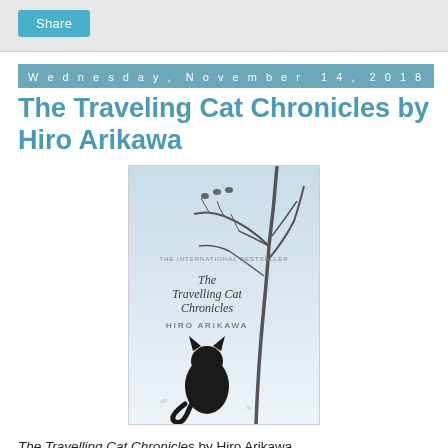Share
Wednesday, November 14, 2018
The Traveling Cat Chronicles by Hiro Arikawa
[Figure (photo): Book cover of The Travelling Cat Chronicles by Hiro Arikawa, showing a black cat sitting with its back to viewer under bare tree branches, light blue/white background.]
The Travelling Cat Chronicles by Hiro Arikawa Published October 2018 by Penguin Publishing Group Source: my copy courtesy of the publisher, through Netgalley, in exchange for an honest review